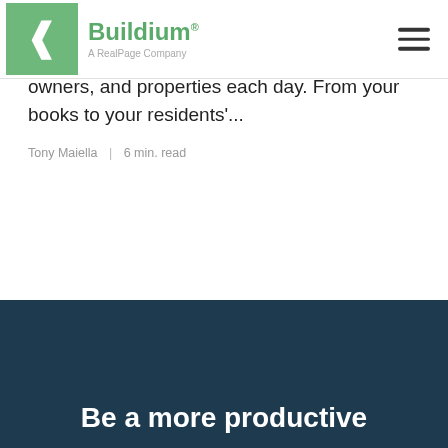Buildium® A RealPage Company
Take a second and think about how much information you collect from your residents, owners, and properties each day. From your books to your residents'...
Tony Maiella  |  6 min. read
Be a more productive